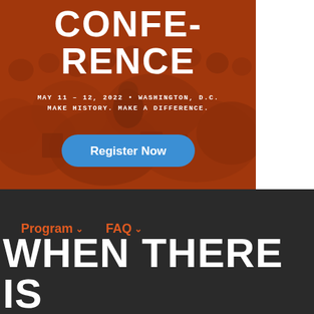[Figure (photo): Hero banner image with dark orange/brown tinted crowd photo background showing a conference scene. White text overlay reads 'CONFERENCE' and date/location details. A blue 'Register Now' button is shown over the image.]
CONFERENCE
MAY 11 – 12, 2022 • WASHINGTON, D.C.
MAKE HISTORY. MAKE A DIFFERENCE.
Register Now
Program ∨   FAQ ∨
WHEN THERE IS